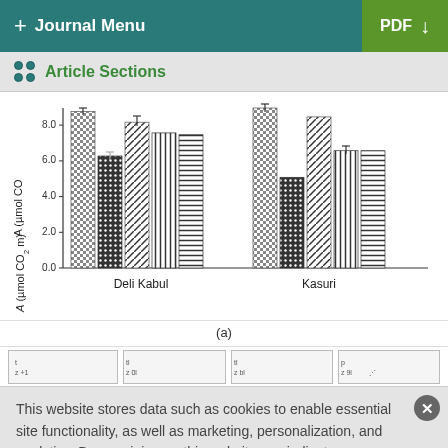+ Journal Menu | PDF ↓
Article Sections
[Figure (grouped-bar-chart): A (µmol CO₂ m⁻¹) by cultivar and treatment]
(a)
This website stores data such as cookies to enable essential site functionality, as well as marketing, personalization, and analytics. By remaining on this website you indicate your consent. Cookie Policy